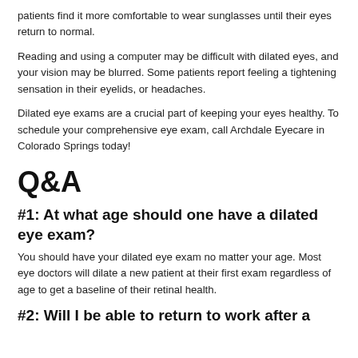patients find it more comfortable to wear sunglasses until their eyes return to normal.
Reading and using a computer may be difficult with dilated eyes, and your vision may be blurred. Some patients report feeling a tightening sensation in their eyelids, or headaches.
Dilated eye exams are a crucial part of keeping your eyes healthy. To schedule your comprehensive eye exam, call Archdale Eyecare in Colorado Springs today!
Q&A
#1: At what age should one have a dilated eye exam?
You should have your dilated eye exam no matter your age. Most eye doctors will dilate a new patient at their first exam regardless of age to get a baseline of their retinal health.
#2: Will I be able to return to work after a